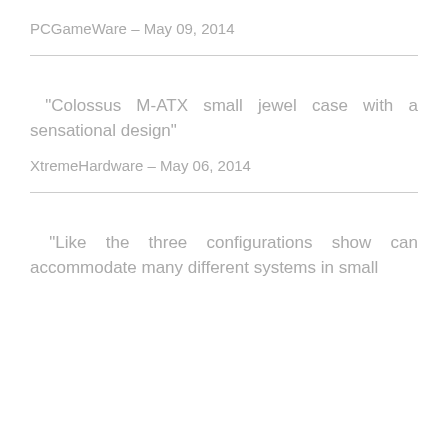PCGameWare – May 09, 2014
“Colossus M-ATX small jewel case with a sensational design”
XtremeHardware – May 06, 2014
“Like the three configurations show can accommodate many different systems in small